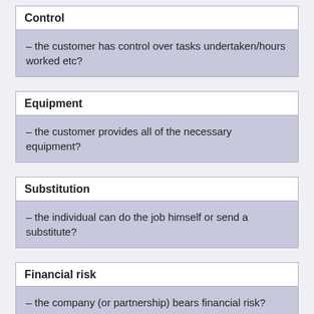Control
– the customer has control over tasks undertaken/hours worked etc?
Equipment
– the customer provides all of the necessary equipment?
Substitution
– the individual can do the job himself or send a substitute?
Financial risk
– the company (or partnership) bears financial risk?